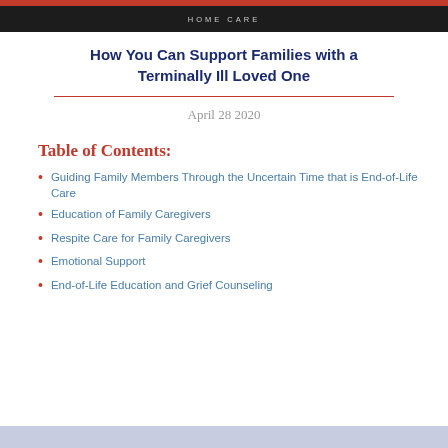[Figure (photo): Dark banner image with text HOME CARE in light letters]
How You Can Support Families with a Terminally Ill Loved One
April 28 2020
Table of Contents:
Guiding Family Members Through the Uncertain Time that is End-of-Life Care
Education of Family Caregivers
Respite Care for Family Caregivers
Emotional Support
End-of-Life Education and Grief Counseling